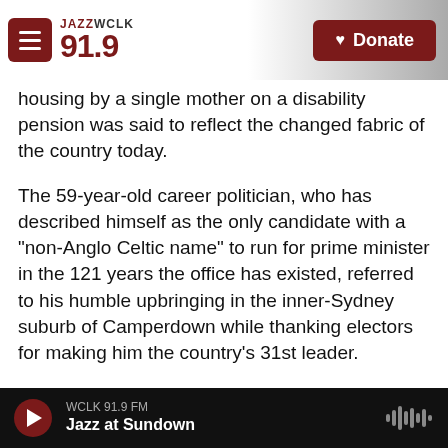JAZZ WCLK 91.9 | Donate
housing by a single mother on a disability pension was said to reflect the changed fabric of the country today.
The 59-year-old career politician, who has described himself as the only candidate with a "non-Anglo Celtic name" to run for prime minister in the 121 years the office has existed, referred to his humble upbringing in the inner-Sydney suburb of Camperdown while thanking electors for making him the country's 31st leader.
"It says a lot about our great country that a son of a single mom who was a disability pensioner, who
WCLK 91.9 FM | Jazz at Sundown